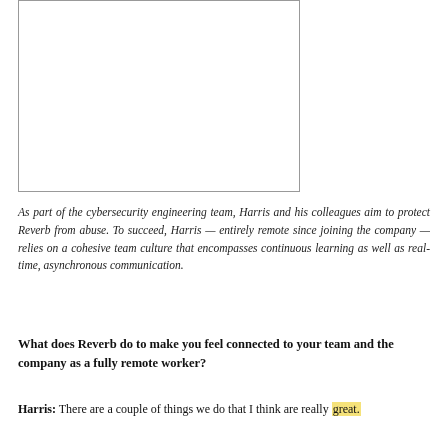[Figure (photo): A white/blank rectangular image area representing a photo placeholder]
As part of the cybersecurity engineering team, Harris and his colleagues aim to protect Reverb from abuse. To succeed, Harris — entirely remote since joining the company — relies on a cohesive team culture that encompasses continuous learning as well as real-time, asynchronous communication.
What does Reverb do to make you feel connected to your team and the company as a fully remote worker?
Harris: There are a couple of things we do that I think are really great.